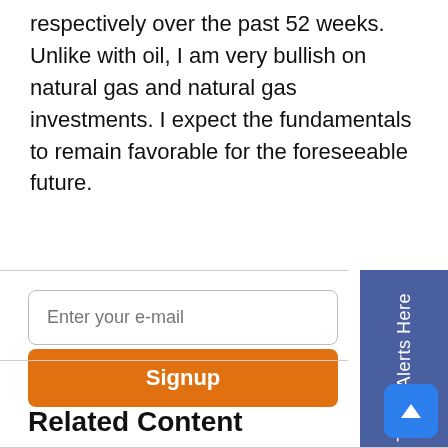respectively over the past 52 weeks. Unlike with oil, I am very bullish on natural gas and natural gas investments. I expect the fundamentals to remain favorable for the foreseeable future.
[Figure (other): Email signup widget with text input field labeled 'Enter your e-mail' and an orange 'Signup' button]
[Figure (other): Blue sidebar button with rotated text 'Get Trade Alerts Here']
Related Content